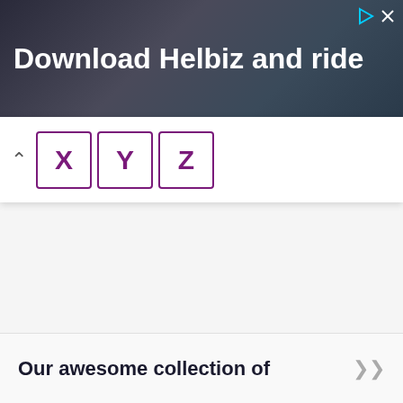[Figure (photo): Advertisement banner for Helbiz showing a person with an electric scooter in a city setting. Text reads 'Download Helbiz and ride' in white bold letters on a dark urban background.]
X Y Z
Our awesome collection of